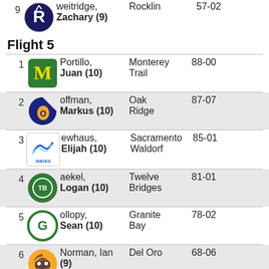9 Weitridge, Zachary (9) Rocklin 57-02
Flight 5
1 Portillo, Juan (10) Monterey Trail 88-00
2 Goffman, Markus (10) Oak Ridge 87-07
3 Newhaus, Elijah (10) Sacramento Waldorf 85-01
4 Gaekel, Logan (10) Twelve Bridges 81-01
5 Gollopy, Sean (10) Granite Bay 78-02
6 Norman, Ian (9) Del Oro 68-06